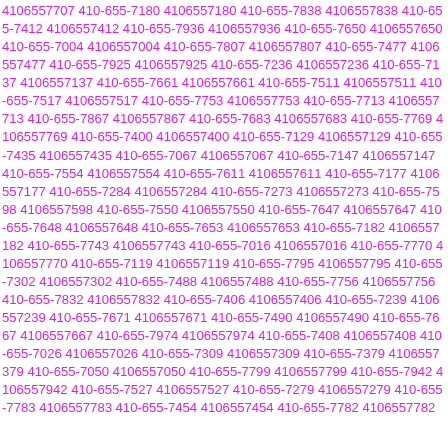4106557707 410-655-7180 4106557180 410-655-7838 4106557838 410-655-7412 4106557412 410-655-7936 4106557936 410-655-7650 4106557650 410-655-7004 4106557004 410-655-7807 4106557807 410-655-7477 4106557477 410-655-7925 4106557925 410-655-7236 4106557236 410-655-7137 4106557137 410-655-7661 4106557661 410-655-7511 4106557511 410-655-7517 4106557517 410-655-7753 4106557753 410-655-7713 4106557713 410-655-7867 4106557867 410-655-7683 4106557683 410-655-7769 4106557769 410-655-7400 4106557400 410-655-7129 4106557129 410-655-7435 4106557435 410-655-7067 4106557067 410-655-7147 4106557147 410-655-7554 4106557554 410-655-7611 4106557611 410-655-7177 4106557177 410-655-7284 4106557284 410-655-7273 4106557273 410-655-7598 4106557598 410-655-7550 4106557550 410-655-7647 4106557647 410-655-7648 4106557648 410-655-7653 4106557653 410-655-7182 4106557182 410-655-7743 4106557743 410-655-7016 4106557016 410-655-7770 4106557770 410-655-7119 4106557119 410-655-7795 4106557795 410-655-7302 4106557302 410-655-7488 4106557488 410-655-7756 4106557756 410-655-7832 4106557832 410-655-7406 4106557406 410-655-7239 4106557239 410-655-7671 4106557671 410-655-7490 4106557490 410-655-7667 4106557667 410-655-7974 4106557974 410-655-7408 4106557408 410-655-7026 4106557026 410-655-7309 4106557309 410-655-7379 4106557379 410-655-7050 4106557050 410-655-7799 4106557799 410-655-7942 4106557942 410-655-7527 4106557527 410-655-7279 4106557279 410-655-7783 4106557783 410-655-7454 4106557454 410-655-7782 4106557782